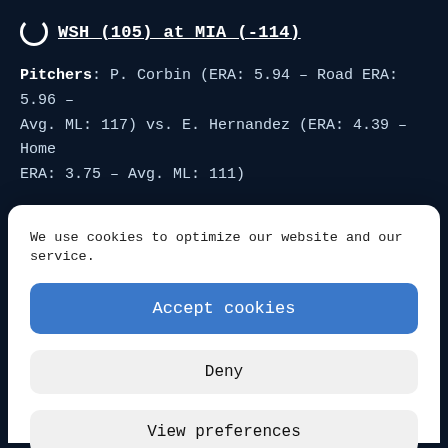WSH (105) at MIA (-114)
Pitchers: P. Corbin (ERA: 5.94 – Road ERA: 5.96 – Avg. ML: 117) vs. E. Hernandez (ERA: 4.39 – Home ERA: 3.75 – Avg. ML: 111)
We use cookies to optimize our website and our service.
Accept cookies
Deny
View preferences
Cookie Policy  Privacy Settings Page